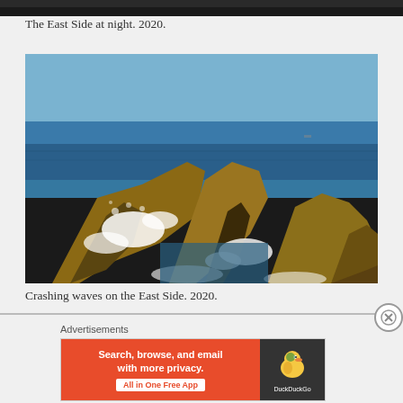[Figure (photo): Partial view of a nighttime urban scene — top strip only visible]
The East Side at night. 2020.
[Figure (photo): Crashing ocean waves against rocky coastal formations (East Side), blue sky and sea in background. 2020.]
Crashing waves on the East Side. 2020.
Advertisements
[Figure (infographic): DuckDuckGo advertisement banner: orange left panel reading 'Search, browse, and email with more privacy. All in One Free App', dark right panel with DuckDuckGo duck logo and brand name.]